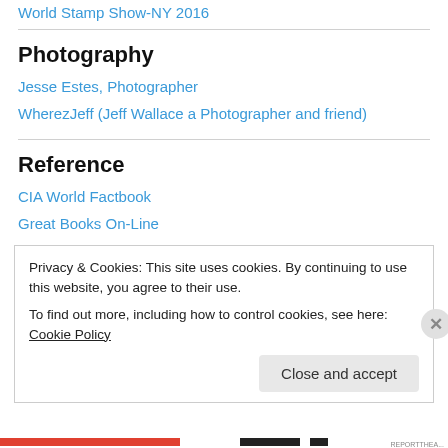World Stamp Show-NY 2016
Photography
Jesse Estes, Photographer
WherezJeff (Jeff Wallace a Photographer and friend)
Reference
CIA World Factbook
Great Books On-Line
Privacy & Cookies: This site uses cookies. By continuing to use this website, you agree to their use. To find out more, including how to control cookies, see here: Cookie Policy
Close and accept